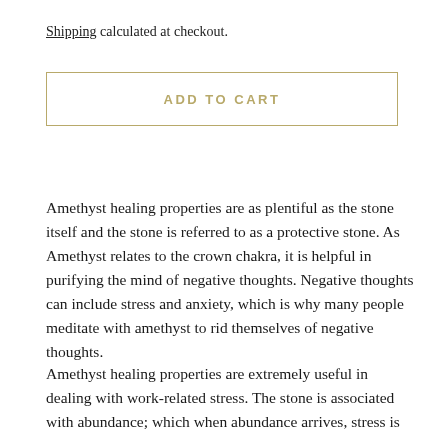Shipping calculated at checkout.
ADD TO CART
Amethyst healing properties are as plentiful as the stone itself and the stone is referred to as a protective stone. As Amethyst relates to the crown chakra, it is helpful in purifying the mind of negative thoughts. Negative thoughts can include stress and anxiety, which is why many people meditate with amethyst to rid themselves of negative thoughts.
Amethyst healing properties are extremely useful in dealing with work-related stress. The stone is associated with abundance; which when abundance arrives, stress is